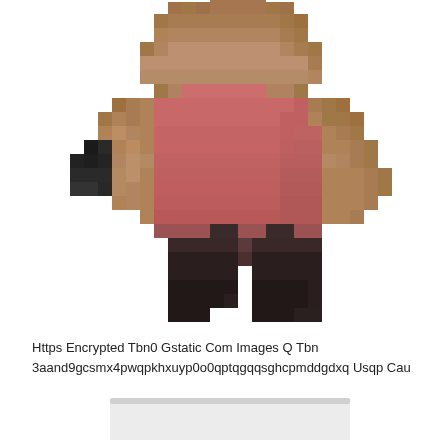[Figure (illustration): Pixel art style 3D figurine of a chubby character with brown skin, wearing a pink/red sleeveless top and dark brown/black shorts, holding a small dark object in the left hand. White background.]
Https Encrypted Tbn0 Gstatic Com Images Q Tbn 3aand9gcsmx4pwqpkhxuyp0o0qptqgqqsghcpmddgdxq Usqp Cau
[Figure (photo): Partial image visible at the bottom of the page, appears to show a white/light colored object, possibly a figurine or toy on a surface.]